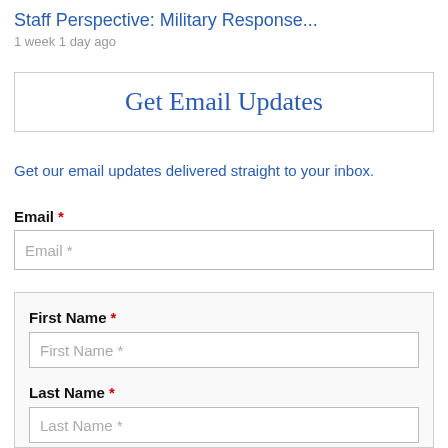Staff Perspective: Military Response...
1 week 1 day ago
Get Email Updates
Get our email updates delivered straight to your inbox.
Email *
Email *
First Name *
First Name *
Last Name *
Last Name *